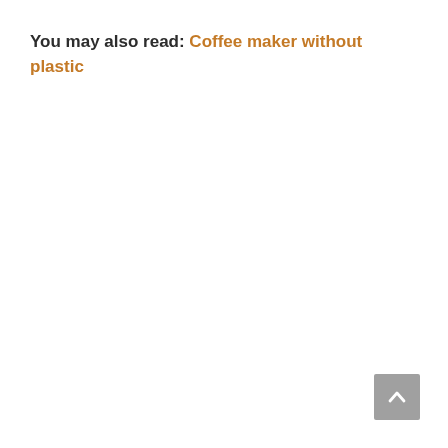You may also read: Coffee maker without plastic
[Figure (other): Scroll-to-top button arrow icon in grey square]